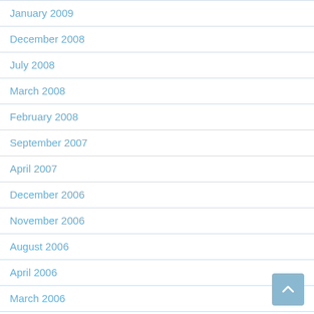January 2009
December 2008
July 2008
March 2008
February 2008
September 2007
April 2007
December 2006
November 2006
August 2006
April 2006
March 2006
February 2006